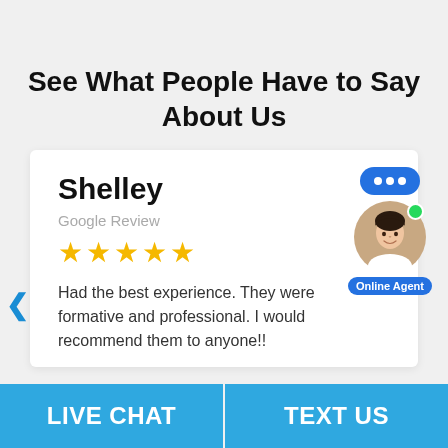See What People Have to Say About Us
Shelley
Google Review
[Figure (illustration): Five gold star rating]
Had the best experience. They were formative and professional. I would recommend them to anyone!!
[Figure (illustration): Live chat agent widget with speech bubble and Online Agent label]
LIVE CHAT
TEXT US